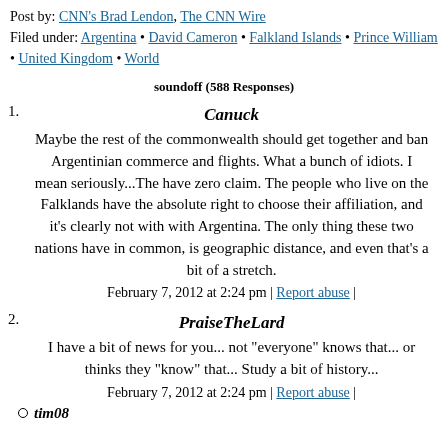Post by: CNN's Brad Lendon, The CNN Wire
Filed under: Argentina • David Cameron • Falkland Islands • Prince William • United Kingdom • World
soundoff (588 Responses)
1. Canuck
Maybe the rest of the commonwealth should get together and ban Argentinian commerce and flights. What a bunch of idiots. I mean seriously...The have zero claim. The people who live on the Falklands have the absolute right to choose their affiliation, and it's clearly not with with Argentina. The only thing these two nations have in common, is geographic distance, and even that's a bit of a stretch.
February 7, 2012 at 2:24 pm | Report abuse |
2. PraiseTheLard
I have a bit of news for you... not "everyone" knows that... or thinks they "know" that... Study a bit of history...
February 7, 2012 at 2:24 pm | Report abuse |
tim08